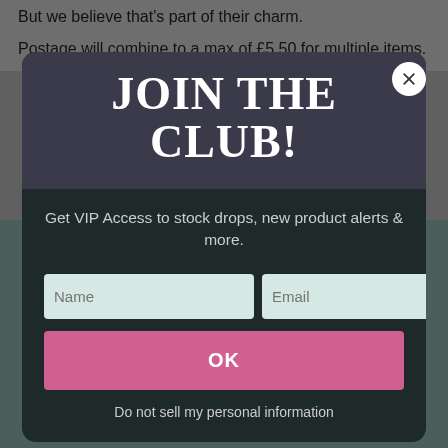But we believe that's part of their charm.
Postage will combine to a max of £5.50 for multiple items.
JOIN THE CLUB!
Get VIP Access to stock drops, new product alerts & more.
Name
Email
OK
Do not sell my personal information